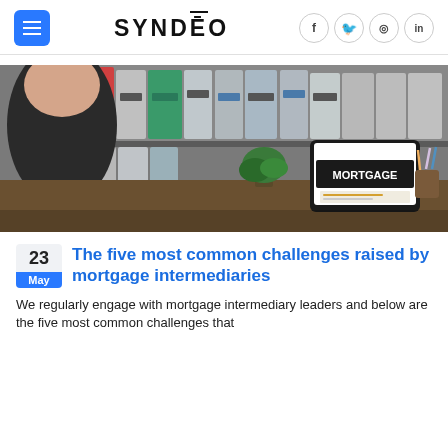SYNDEO
[Figure (photo): Man sitting at desk looking at a laptop screen displaying the word MORTGAGE, with colorful binders on shelves in the background and pencils in a holder on the desk.]
The five most common challenges raised by mortgage intermediaries
We regularly engage with mortgage intermediary leaders and below are the five most common challenges that